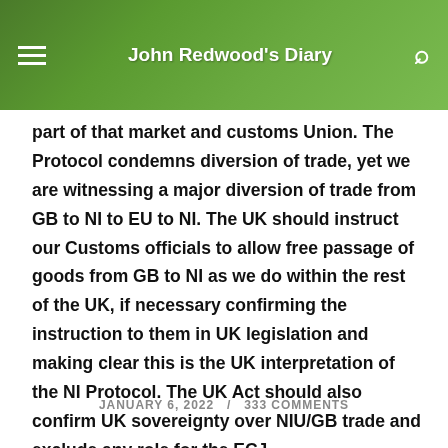John Redwood's Diary
part of that market and customs Union. The Protocol condemns diversion of trade, yet we are witnessing a major diversion of trade from GB to NI to EU to NI. The UK should instruct our Customs officials to allow free passage of goods from GB to NI as we do within the rest of the UK, if necessary confirming the instruction to them in UK legislation and making clear this is the UK interpretation of the NI Protocol. The UK Act should also confirm UK sovereignty over NIU/GB trade and exclude any role for the ECJ.
JANUARY 6, 2022  /  333 COMMENTS